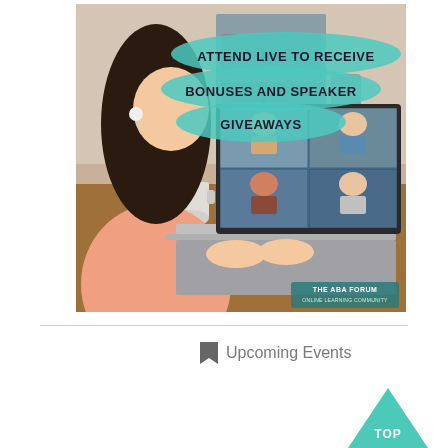[Figure (photo): Woman with earbuds sitting at a wooden desk smiling at a laptop showing a video conference with multiple participants. Text overlay reads 'ATTEND LIVE TO RECEIVE BONUSES AND SPEAKER GIVEAWAYS' on teal brushstroke backgrounds. 'THE ABA FORUM' watermark at bottom right.]
Upcoming Events